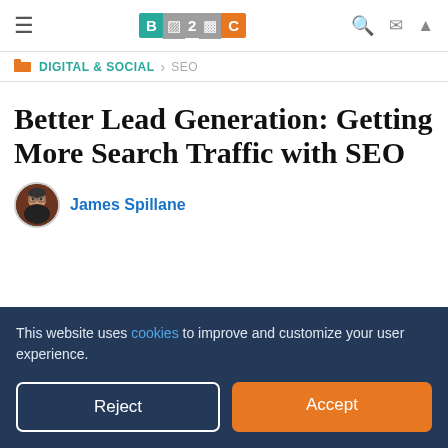B2C — Business 2 Community navigation header with hamburger menu, logo, search, email, and up arrow icons
DIGITAL & SOCIAL  ›  SEO
Better Lead Generation: Getting More Search Traffic with SEO
James Spillane
This website uses cookies to improve and customize your user experience.
Reject
Accept